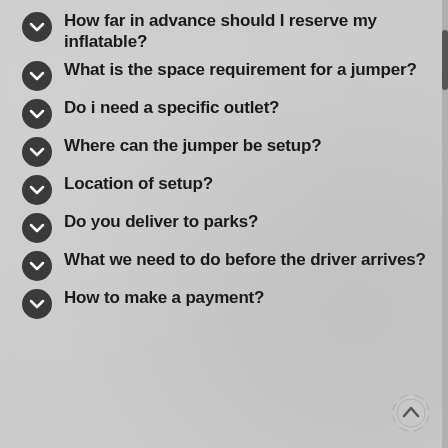How far in advance should I reserve my inflatable?
What is the space requirement for a jumper?
Do i need a specific outlet?
Where can the jumper be setup?
Location of setup?
Do you deliver to parks?
What we need to do before the driver arrives?
How to make a payment?